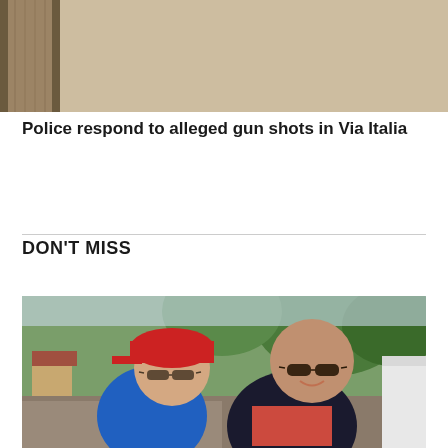[Figure (photo): Top portion of a photo showing a wooden door/window frame on the left and a beige/tan wall background]
Police respond to alleged gun shots in Via Italia
DON'T MISS
[Figure (photo): Two men posing together outdoors in a park-like setting. The man on the left wears a red baseball cap, sunglasses, and a blue polo shirt. The man on the right wears sunglasses and a dark navy and coral/red polo shirt. Trees and suburban houses visible in the background. Another person partially visible on the far right.]